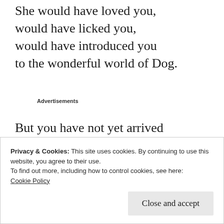She would have loved you, would have licked you, would have introduced you to the wonderful world of Dog.
Advertisements
But you have not yet arrived and she is already gone.
Privacy & Cookies: This site uses cookies. By continuing to use this website, you agree to their use.
To find out more, including how to control cookies, see here:
Cookie Policy
Close and accept